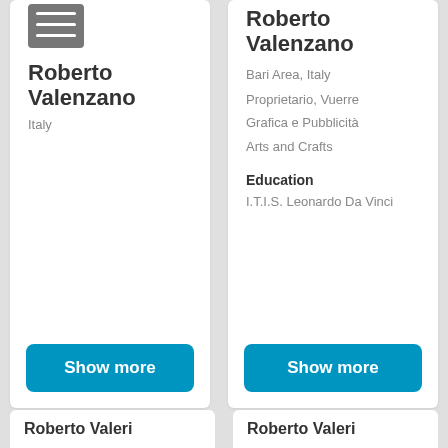Roberto Valenzano
Italy
Show more
Roberto Valenzano
Bari Area, Italy
Proprietario, Vuerre
Grafica e Pubblicità
Arts and Crafts
Education
I.T.I.S. Leonardo Da Vinci
Show more
Roberto Valeri
Roberto Valeri